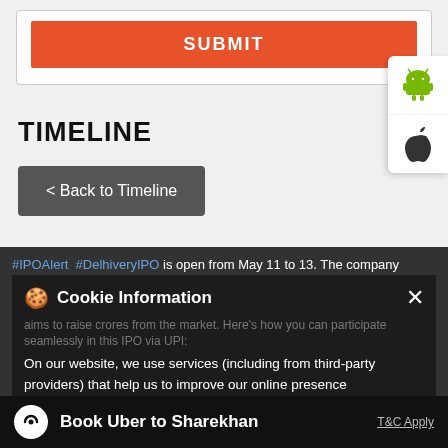[Figure (screenshot): Orange SUBMIT button]
TIMELINE
[Figure (screenshot): < Back to Timeline dark button and Android/Apple app icons]
#IPOAlert #DelhiveryIPO is open from May 11 to 13. The company aims to raise crores from the market. Here's how you can participate seamlessly in this IPO via UPI:
Cookie Information
On our website, we use services (including from third-party providers) that help us to improve our online presence (optimization of website) and to display content that is geared to their interests. We need your consent before being able to use these services.
#IPOAlert
Book Uber to Sharekhan
T&C Apply